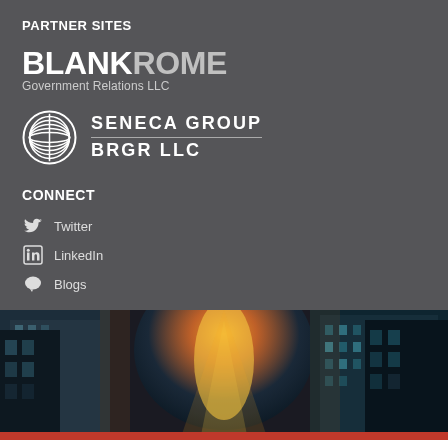PARTNER SITES
[Figure (logo): Blank Rome Government Relations LLC logo - text logo with BLANK in white bold and ROME in gray bold, subtitle Government Relations LLC]
[Figure (logo): Seneca Group BRGR LLC logo - circular layered leaf/stripe icon on left, text SENECA GROUP over BRGR LLC on right]
CONNECT
Twitter
LinkedIn
Blogs
[Figure (photo): Looking-up photo of city skyscrapers with bright sunlight in center between buildings, warm golden and teal tones]